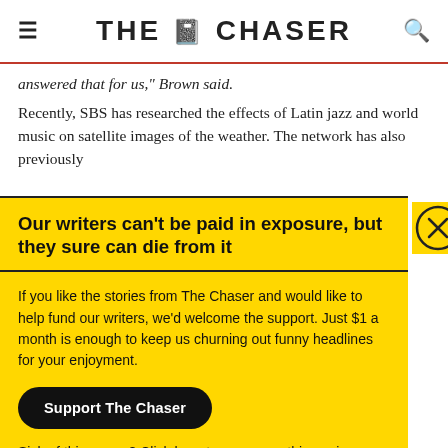THE CHASER
answered that for us," Brown said.
Recently, SBS has researched the effects of Latin jazz and world music on satellite images of the weather. The network has also previously
Our writers can't be paid in exposure, but they sure can die from it
If you like the stories from The Chaser and would like to help fund our writers, we'd welcome the support. Just $1 a month is enough to keep us churning out funny headlines for your enjoyment.
Support The Chaser
Sick of this popup? Click here to never see this again.